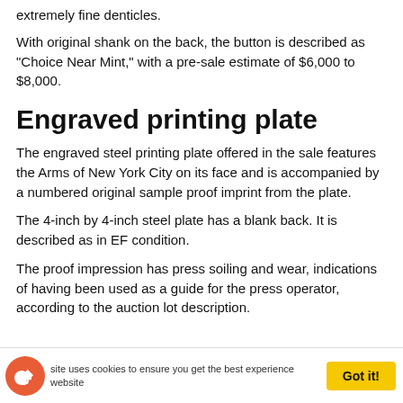extremely fine denticles.
With original shank on the back, the button is described as "Choice Near Mint," with a pre-sale estimate of $6,000 to $8,000.
Engraved printing plate
The engraved steel printing plate offered in the sale features the Arms of New York City on its face and is accompanied by a numbered original sample proof imprint from the plate.
The 4-inch by 4-inch steel plate has a blank back. It is described as in EF condition.
The proof impression has press soiling and wear, indications of having been used as a guide for the press operator, according to the auction lot description.
This site uses cookies to ensure you get the best experience on our website